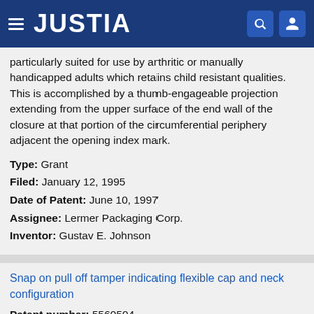JUSTIA
particularly suited for use by arthritic or manually handicapped adults which retains child resistant qualities. This is accomplished by a thumb-engageable projection extending from the upper surface of the end wall of the closure at that portion of the circumferential periphery adjacent the opening index mark.
Type: Grant
Filed: January 12, 1995
Date of Patent: June 10, 1997
Assignee: Lermer Packaging Corp.
Inventor: Gustav E. Johnson
Snap on pull off tamper indicating flexible cap and neck configuration
Patent number: 5560504
Abstract: A novel snap on pull off tamper indicating cap